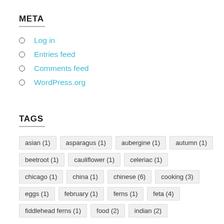META
Log in
Entries feed
Comments feed
WordPress.org
TAGS
asian (1) asparagus (1) aubergine (1) autumn (1) beetroot (1) cauliflower (1) celeriac (1) chicago (1) china (1) chinese (6) cooking (3) eggs (1) february (1) ferns (1) feta (4) fiddlehead ferns (1) food (2) indian (2)